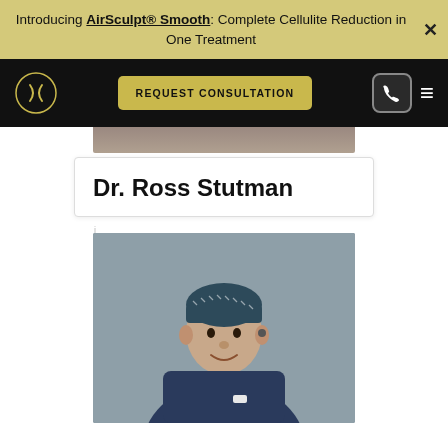Introducing AirSculpt® Smooth: Complete Cellulite Reduction in One Treatment
[Figure (screenshot): Website navigation bar with AirSculpt logo, REQUEST CONSULTATION button, phone icon, and hamburger menu on black background]
Dr. Ross Stutman
[Figure (photo): Photo of Dr. Ross Stutman wearing surgical scrubs and a patterned surgical cap, smiling, against a grey background]